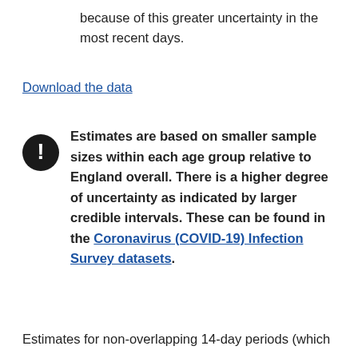because of this greater uncertainty in the most recent days.
Download the data
Estimates are based on smaller sample sizes within each age group relative to England overall. There is a higher degree of uncertainty as indicated by larger credible intervals. These can be found in the Coronavirus (COVID-19) Infection Survey datasets.
Estimates for non-overlapping 14-day periods (which